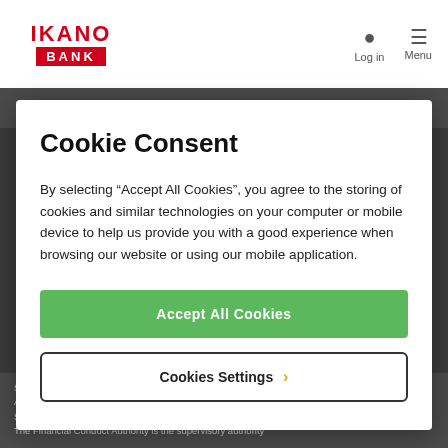IKANO BANK | Log in | Menu
Cookie Consent
By selecting “Accept All Cookies”, you agree to the storing of cookies and similar technologies on your computer or mobile device to help us provide you with a good experience when browsing our website or using our mobile application.
Accept All Cookies
Cookies Settings ›
Sweden with registered and head office: Hyllie Boulevard 27, Malmo 215 32 Sweden. Ikano Bank AB (publ) is a Swedish Public Limited Company (publikt bankaktiebolag) registered with the Swedish Companies Registration Office (bolagsverket) with organisation number: 516406-0922. The Financial Conduct Authority is the supervisory authority